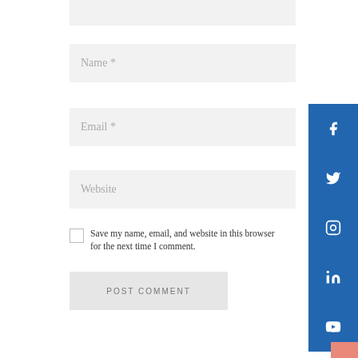[Figure (screenshot): A comment form section showing input fields for Name, Email, Website, a save checkbox, and a POST COMMENT button. A blue social media sidebar on the right shows icons for Facebook, Twitter, Instagram, LinkedIn, and YouTube.]
Name *
Email *
Website
Save my name, email, and website in this browser for the next time I comment.
POST COMMENT